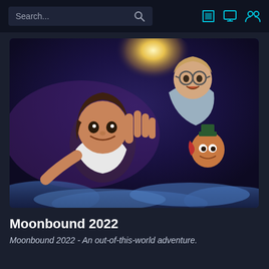Search...
[Figure (illustration): Animated movie poster for Moonbound 2022 showing three cartoon characters flying through a night sky with clouds and a bright light source. A girl in the foreground with hand outstretched, a boy with glasses above, and a small creature with a hat to the right.]
Moonbound 2022
Moonbound 2022 - An out-of-this-world adventure.